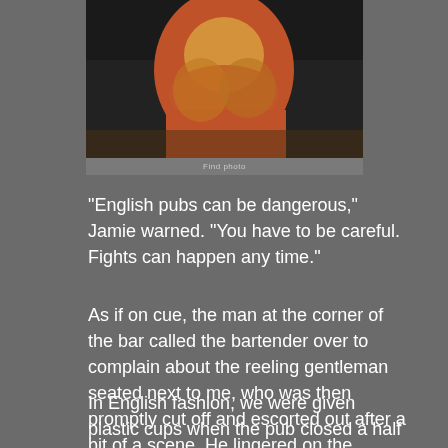[Figure (photo): Photo of a smiling woman wearing an orange/red top and a furry scarf, taken in low light conditions indoors]
Find photo
“English pubs can be dangerous,” Jamie warned. “You have to be careful. Fights can happen any time.”
As if on cue, the man at the corner of the bar called the bartender over to complain about the reeling gentleman seated next to me, who was then promptly cut off and escorted out after a bit of a scene. He lingered on the sidewalk outside for some time.
In English fashion, we were given plastic cups when the pub closed a half an hour later, and sent out onto the streets. The idea of drinking in the street was unusual and exciting. We stood outside the pub and inhaled the fresh, London air.